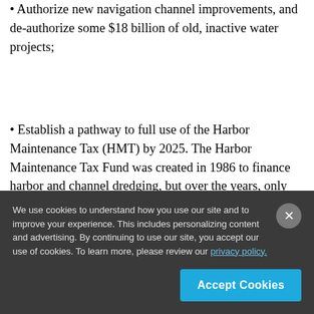• Authorize new navigation channel improvements, and de-authorize some $18 billion of old, inactive water projects;
• Establish a pathway to full use of the Harbor Maintenance Tax (HMT) by 2025. The Harbor Maintenance Tax Fund was created in 1986 to finance harbor and channel dredging, but over the years, only about half of those funds generated from a tax on imports have been used for harbor projects. Supporters
We use cookies to understand how you use our site and to improve your experience. This includes personalizing content and advertising. By continuing to use our site, you accept our use of cookies. To learn more, please review our privacy policy.